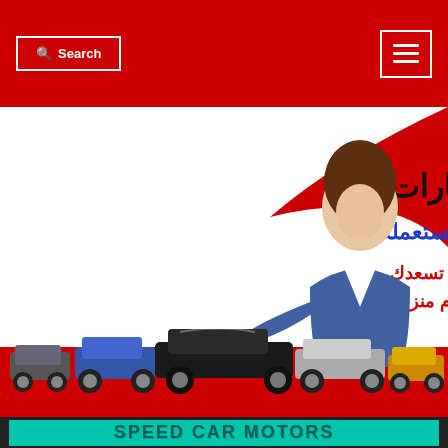Search | [hamburger menu]
[Figure (photo): Arabic car buying advertisement banner. White and red background with a woman in blue business suit gesturing. Arabic text: نشتري السيارات (We buy cars), الجديدة و المستعملة (new and used), أعلى الأسعار، أسعارنا تسرك و تسعدك الدفع كاش، نشتريها من أمام منزلك (Highest prices, our prices will please you, cash payment, we buy from your home). Multiple cars shown at bottom.]
SPEED CAR MOTORS